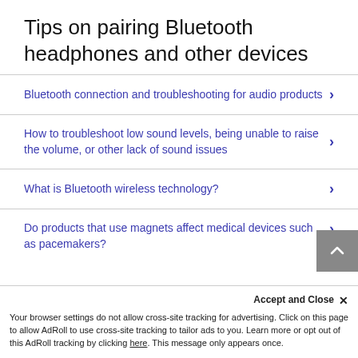Tips on pairing Bluetooth headphones and other devices
Bluetooth connection and troubleshooting for audio products
How to troubleshoot low sound levels, being unable to raise the volume, or other lack of sound issues
What is Bluetooth wireless technology?
Do products that use magnets affect medical devices such as pacemakers?
Accept and Close ×
Your browser settings do not allow cross-site tracking for advertising. Click on this page to allow AdRoll to use cross-site tracking to tailor ads to you. Learn more or opt out of this AdRoll tracking by clicking here. This message only appears once.